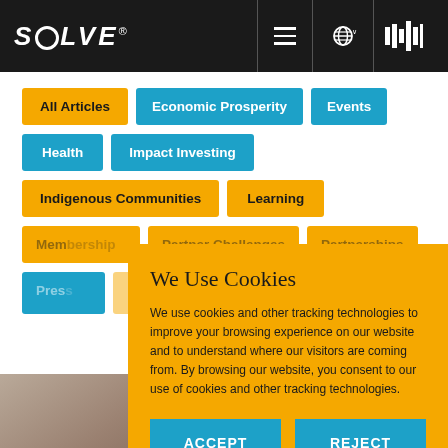SOLVE® — MIT Solve navigation bar
All Articles
Economic Prosperity
Events
Health
Impact Investing
Indigenous Communities
Learning
Membership
Partner Challenges
Partnerships
Press
We Use Cookies
We use cookies and other tracking technologies to improve your browsing experience on our website and to understand where our visitors are coming from. By browsing our website, you consent to our use of cookies and other tracking technologies.
ACCEPT
REJECT